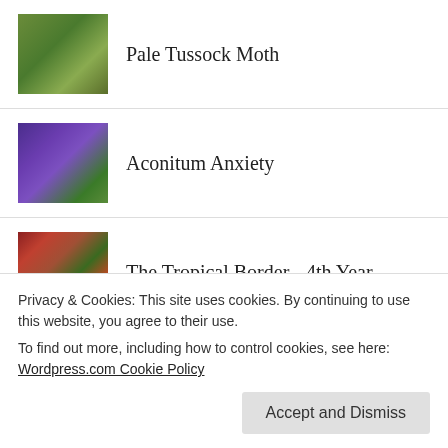Pale Tussock Moth
Aconitum Anxiety
The Tropical Border - 4th Year
Viburnum plicatum 'Mariesii'
Win A Copy Of 'The Cotswold Wildlife
Privacy & Cookies: This site uses cookies. By continuing to use this website, you agree to their use.
To find out more, including how to control cookies, see here:
Wordpress.com Cookie Policy
Accept and Dismiss